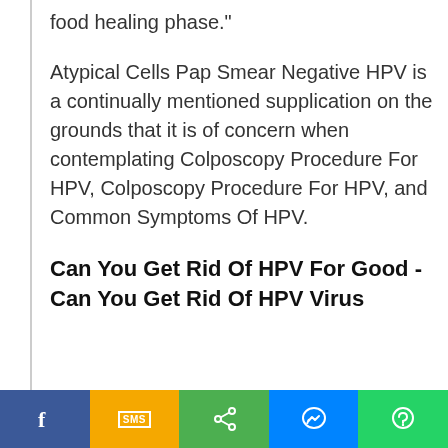food healing phase."
Atypical Cells Pap Smear Negative HPV is a continually mentioned supplication on the grounds that it is of concern when contemplating Colposcopy Procedure For HPV, Colposcopy Procedure For HPV, and Common Symptoms Of HPV.
Can You Get Rid Of HPV For Good - Can You Get Rid Of HPV Virus